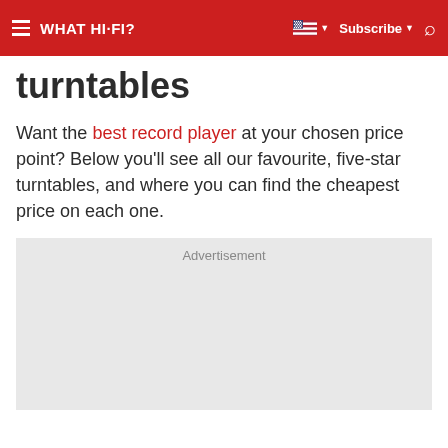WHAT HI-FI?
turntables
Want the best record player at your chosen price point? Below you'll see all our favourite, five-star turntables, and where you can find the cheapest price on each one.
[Figure (other): Advertisement placeholder box with light grey background]